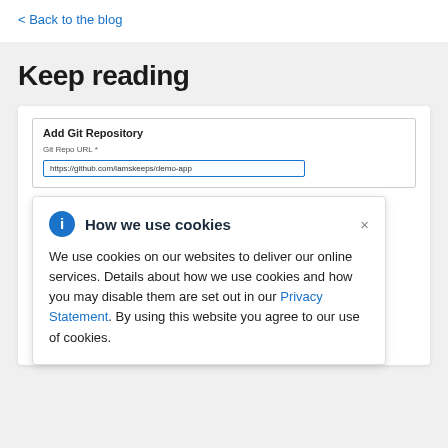< Back to the blog
Keep reading
[Figure (screenshot): Screenshot of an 'Add Git Repository' dialog with a Git Repo URL input field containing 'https://github.com/iamskeeps/demo-app', overlaid by a 'How we use cookies' popup with an info icon, close button (×), and body text: 'We use cookies on our websites to deliver our online services. Details about how we use cookies and how you may disable them are set out in our Privacy Statement. By using this website you agree to our use of cookies.']